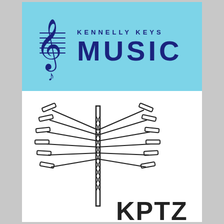[Figure (logo): Kennelly Keys Music logo: light blue banner with a treble clef music note icon on the left and the text 'KENNELLY KEYS' in small navy letters above large navy bold 'MUSIC' text on the right]
[Figure (logo): KPTZ radio station logo: a black illustration of a tall radio transmission tower with many antennas radiating outward in all directions, and the text 'KPTZ' in large letters below-right of the tower]